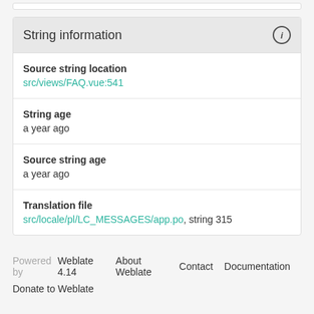String information
Source string location
src/views/FAQ.vue:541
String age
a year ago
Source string age
a year ago
Translation file
src/locale/pl/LC_MESSAGES/app.po, string 315
Powered by Weblate 4.14  About Weblate  Contact  Documentation
Donate to Weblate